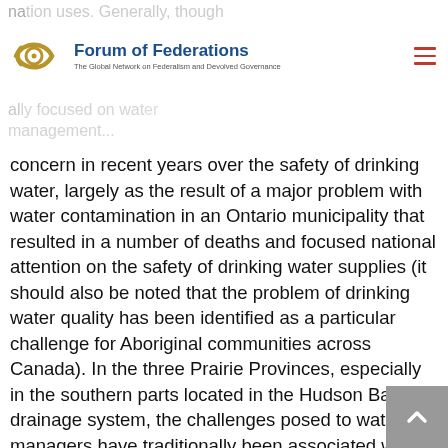Forum of Federations — The Global Network on Federalism and Devolved Governance
concern in recent years over the safety of drinking water, largely as the result of a major problem with water contamination in an Ontario municipality that resulted in a number of deaths and focused national attention on the safety of drinking water supplies (it should also be noted that the problem of drinking water quality has been identified as a particular challenge for Aboriginal communities across Canada). In the three Prairie Provinces, especially in the southern parts located in the Hudson Bay drainage system, the challenges posed to water managers have traditionally been associated with concerns relating to water quantity, although in recent